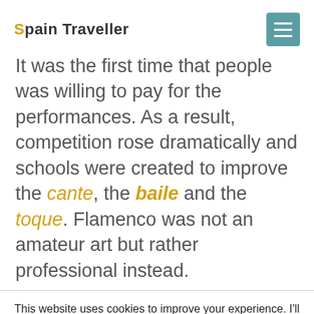Spain Traveller
It was the first time that people was willing to pay for the performances. As a result, competition rose dramatically and schools were created to improve the cante, the baile and the toque. Flamenco was not an amateur art but rather professional instead.
This website uses cookies to improve your experience. I'll assume you're OK with this, but you can opt-out if you wish.